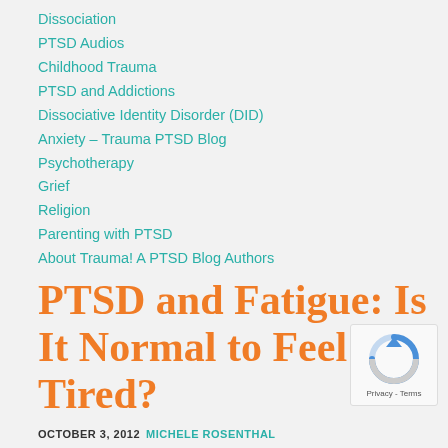Dissociation
PTSD Audios
Childhood Trauma
PTSD and Addictions
Dissociative Identity Disorder (DID)
Anxiety – Trauma PTSD Blog
Psychotherapy
Grief
Religion
Parenting with PTSD
About Trauma! A PTSD Blog Authors
PTSD and Fatigue: Is It Normal to Feel So Tired?
OCTOBER 3, 2012 MICHELE ROSENTHAL